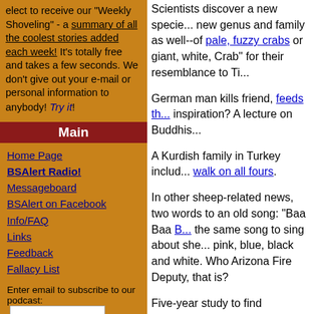elect to receive our "Weekly Shoveling" - a summary of all the coolest stories added each week! It's totally free and takes a few seconds. We don't give out your e-mail or personal information to anybody! Try it
Main
Home Page
BSAlert Radio!
Messageboard
BSAlert on Facebook
Info/FAQ
Links
Feedback
Fallacy List
Enter email to subscribe to our podcast:
Bookmark BSAlert
BSAlert Video
FreeThought Wiki
BSA on Twitter
Articles
Scientists discover a new specie... new genus and family as well--of pale, fuzzy crabs or giant, white, Crab" for their resemblance to Ti...
German man kills friend, feeds th... inspiration? A lecture on Buddhis...
A Kurdish family in Turkey includ... walk on all fours.
In other sheep-related news, two words to an old song: "Baa Baa B... the same song to sing about she... pink, blue, black and white. Who Arizona Fire Deputy, that is?
Five-year study to find alternative... comes up with five new options.
Thanks to transcipts released un... know why many prisoners at Gua... them were using binoculars to se... goats.
Britain plans to destroy 100,000 b... bovine TB, although experts diffe... ...W...in...th...W...ill...